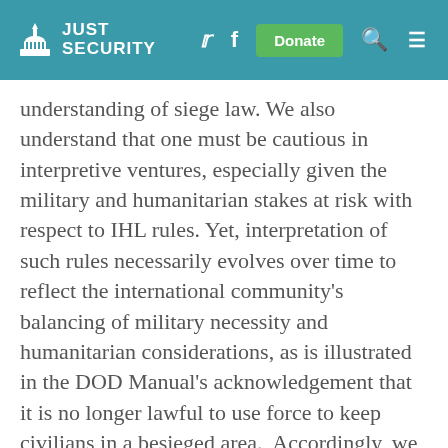JUST SECURITY
understanding of siege law. We also understand that one must be cautious in interpretive ventures, especially given the military and humanitarian stakes at risk with respect to IHL rules. Yet, interpretation of such rules necessarily evolves over time to reflect the international community's balancing of military necessity and humanitarian considerations, as is illustrated in the DOD Manual's acknowledgement that it is no longer lawful to use force to keep civilians in a besieged area.  Accordingly, we are at ease endorsing the Expert Report's conclusions on the state of the law, subject to the important